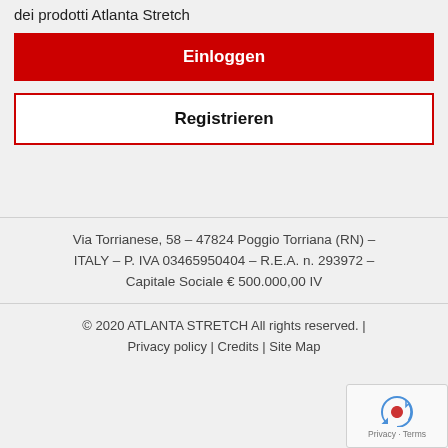dei prodotti Atlanta Stretch
Einloggen
Registrieren
Via Torrianese, 58 – 47824 Poggio Torriana (RN) – ITALY – P. IVA 03465950404 – R.E.A. n. 293972 – Capitale Sociale € 500.000,00 IV
© 2020 ATLANTA STRETCH All rights reserved. | Privacy policy | Credits | Site Map
[Figure (logo): reCAPTCHA widget with circular arrows icon and 'Privacy - Terms' label]